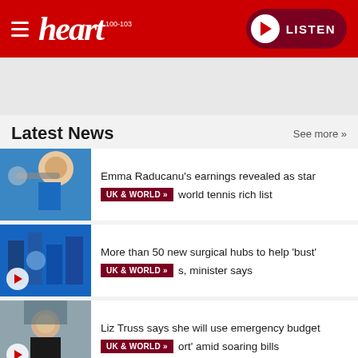heart 100-103 LISTEN
Latest News   See more »
Emma Raducanu's earnings revealed as star
UK & WORLD »  world tennis rich list
More than 50 new surgical hubs to help 'bust'
UK & WORLD »  s, minister says
Liz Truss says she will use emergency budget
UK & WORLD »  ort' amid soaring bills